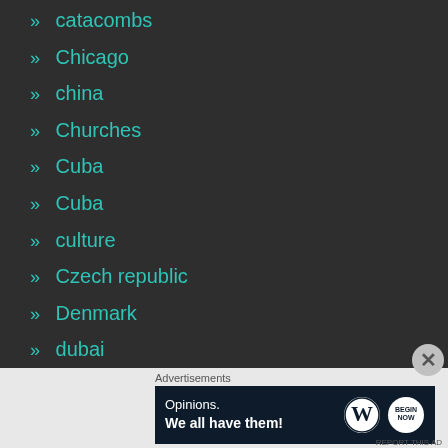» catacombs
» Chicago
» china
» Churches
» Cuba
» Cuba
» culture
» Czech republic
» Denmark
» dubai
» Dublin
» Ethiopia
Advertisements
Opinions. We all have them!